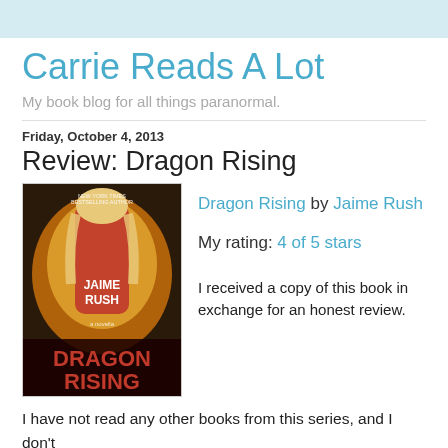Carrie Reads A Lot
My book blog for all things paranormal.
Friday, October 4, 2013
Review: Dragon Rising
[Figure (photo): Book cover of Dragon Rising by Jaime Rush showing a woman with fiery dragon imagery, red text title at bottom]
Dragon Rising by Jaime Rush
My rating: 4 of 5 stars
I received a copy of this book in exchange for an honest review.
I have not read any other books from this series, and I don't